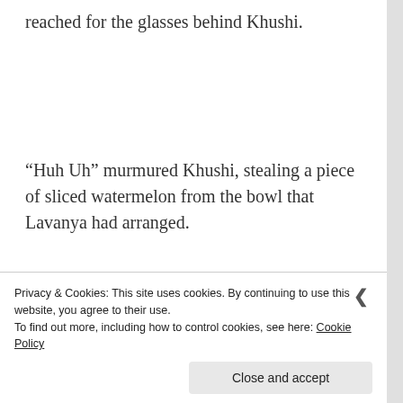reached for the glasses behind Khushi.
“Huh Uh” murmured Khushi, stealing a piece of sliced watermelon from the bowl that Lavanya had arranged.
“How was lunch?”
Privacy & Cookies: This site uses cookies. By continuing to use this website, you agree to their use.
To find out more, including how to control cookies, see here: Cookie Policy
Close and accept